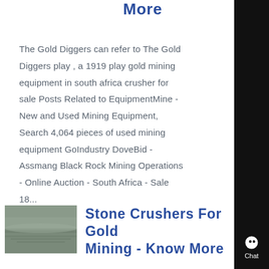More
The Gold Diggers can refer to The Gold Diggers play , a 1919 play gold mining equipment in south africa crusher for sale Posts Related to EquipmentMine - New and Used Mining Equipment, Search 4,064 pieces of used mining equipment GoIndustry DoveBid - Assmang Black Rock Mining Operations - Online Auction - South Africa - Sale 18...
[Figure (photo): Thumbnail image of a stone/gravel mining area or road surface]
Stone Crushers For Gold Mining - Know More